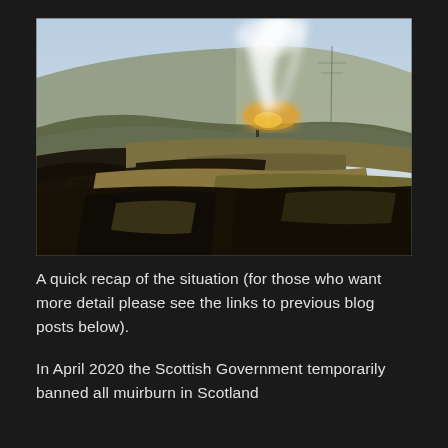[Figure (photo): Landscape photo of a Scottish moorland hill with a controlled muirburn fire visible. Smoke rises in white plumes against a pale blue sky. The foreground shows dark burned peat and heather while the hillside has strips of brown and dark burned vegetation. A power line pylon is faintly visible in the background.]
A quick recap of the situation (for those who want more detail please see the links to previous blog posts below).
In April 2020 the Scottish Government temporarily banned all muirburn in Scotland